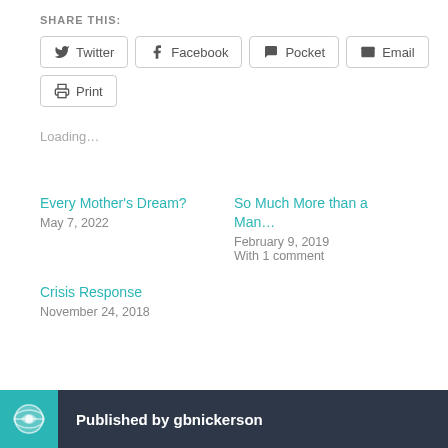SHARE THIS:
Twitter | Facebook | Pocket | Email | Print
Loading...
Every Mother's Dream?
May 7, 2022
So Much More than a Man…
February 9, 2019
With 1 comment
Crisis Response
November 24, 2018
Published by gbnickerson